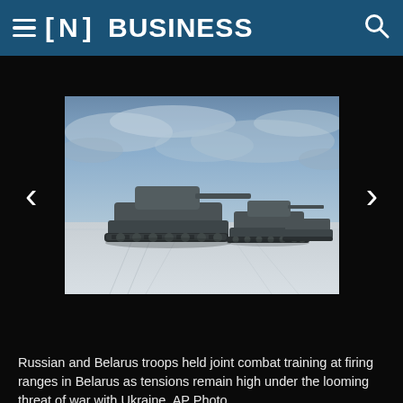≡ [N] BUSINESS
[Figure (photo): Military tanks and armored vehicles moving across a snow-covered field under a cloudy blue sky during joint Russian and Belarusian combat training exercises.]
Russian and Belarus troops held joint combat training at firing ranges in Belarus as tensions remain high under the looming threat of war with Ukraine. AP Photo